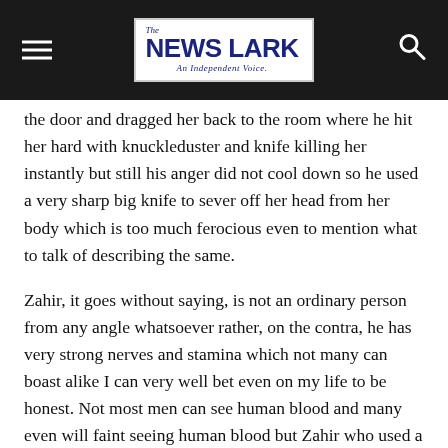The News Lark — An Independent Voice.
the door and dragged her back to the room where he hit her hard with knuckleduster and knife killing her instantly but still his anger did not cool down so he used a very sharp big knife to sever off her head from her body which is too much ferocious even to mention what to talk of describing the same.
Zahir, it goes without saying, is not an ordinary person from any angle whatsoever rather, on the contra, he has very strong nerves and stamina which not many can boast alike I can very well bet even on my life to be honest. Not most men can see human blood and many even will faint seeing human blood but Zahir who used a knife to chop off Noor head from her body has proved like steel-hearted man simply because instead of running away from the crime scene he remained very much near the dead body drenched in blood. He called